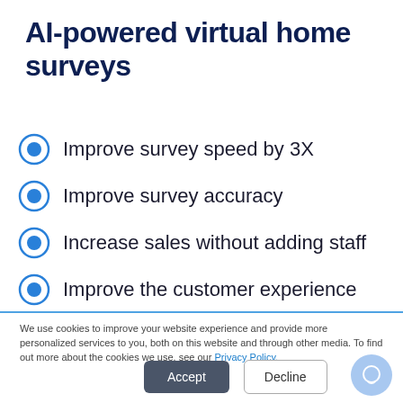AI-powered virtual home surveys
Improve survey speed by 3X
Improve survey accuracy
Increase sales without adding staff
Improve the customer experience
We use cookies to improve your website experience and provide more personalized services to you, both on this website and through other media. To find out more about the cookies we use, see our Privacy Policy.